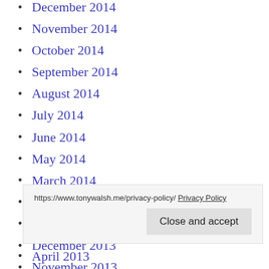December 2014
November 2014
October 2014
September 2014
August 2014
July 2014
June 2014
May 2014
March 2014
February 2014
January 2014
December 2013
November 2013
https://www.tonywalsh.me/privacy-policy/ Privacy Policy
Close and accept
April 2013